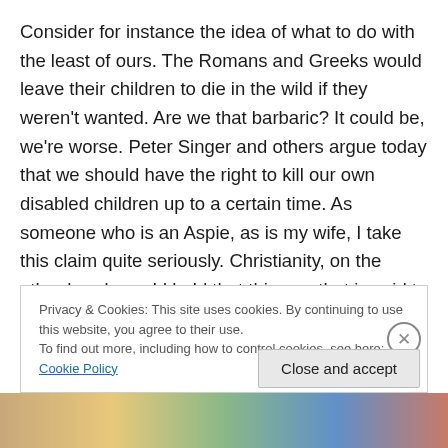Consider for instance the idea of what to do with the least of ours. The Romans and Greeks would leave their children to die in the wild if they weren't wanted. Are we that barbaric? It could be, we're worse. Peter Singer and others argue today that we should have the right to kill our own disabled children up to a certain time. As someone who is an Aspie, as is my wife, I take this claim quite seriously. Christianity, on the other hand, would hold that this one that is said to be useless in the sight of the world and holding us back from genetic success, fully bears the
Privacy & Cookies: This site uses cookies. By continuing to use this website, you agree to their use.
To find out more, including how to control cookies, see here: Cookie Policy
Close and accept
[Figure (photo): Partial colorful image strip at the bottom of the page]